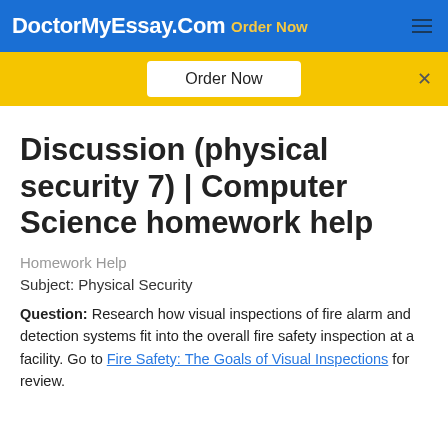DoctorMyEssay.Com  Order Now
Discussion (physical security 7) | Computer Science homework help
Homework Help
Subject: Physical Security
Question: Research how visual inspections of fire alarm and detection systems fit into the overall fire safety inspection at a facility. Go to Fire Safety: The Goals of Visual Inspections for review.